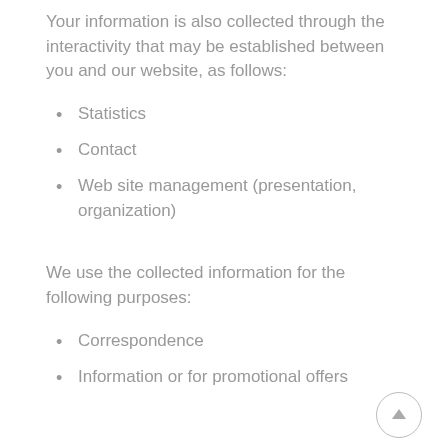Your information is also collected through the interactivity that may be established between you and our website, as follows:
Statistics
Contact
Web site management (presentation, organization)
We use the collected information for the following purposes:
Correspondence
Information or for promotional offers